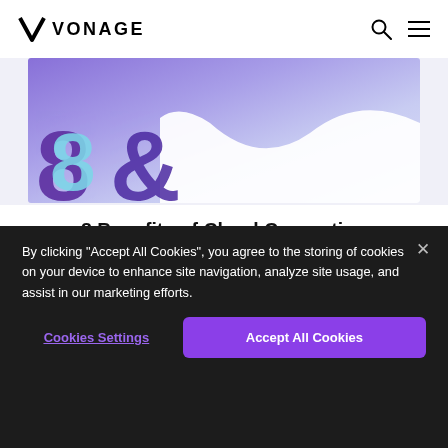VONAGE
[Figure (illustration): Purple/blue gradient hero banner with a large stylized '8&' numeral in purple and cyan tones over a wave-shaped white background element]
8 Benefits of Cloud Computing
Learn more about the benefits of cloud computing, the different types of clouds, and how you can find the right cloud providers for your business needs. →
By clicking "Accept All Cookies", you agree to the storing of cookies on your device to enhance site navigation, analyze site usage, and assist in our marketing efforts.
Cookies Settings
Accept All Cookies